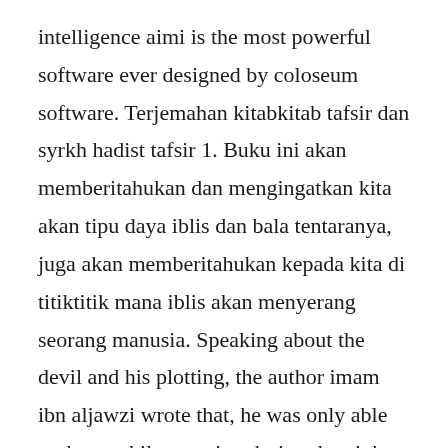intelligence aimi is the most powerful software ever designed by coloseum software. Terjemahan kitabkitab tafsir dan syrkh hadist tafsir 1. Buku ini akan memberitahukan dan mengingatkan kita akan tipu daya iblis dan bala tentaranya, juga akan memberitahukan kepada kita di titiktitik mana iblis akan menyerang seorang manusia. Speaking about the devil and his plotting, the author imam ibn aljawzi wrote that, he was only able to do so while creeping during the night of ignorance. Talbis iblis 03, celaan terhadap bidah dan